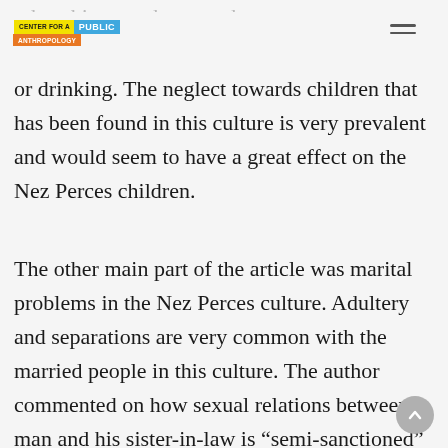Center for a Public Anthropology
or drinking. The neglect towards children that has been found in this culture is very prevalent and would seem to have a great effect on the Nez Perces children.
The other main part of the article was marital problems in the Nez Perces culture. Adultery and separations are very common with the married people in this culture. The author commented on how sexual relations between a man and his sister-in-law is “semi-sanctioned” in this society. Even though extramarital affairs cause stress and bitterness in the society, they are still very